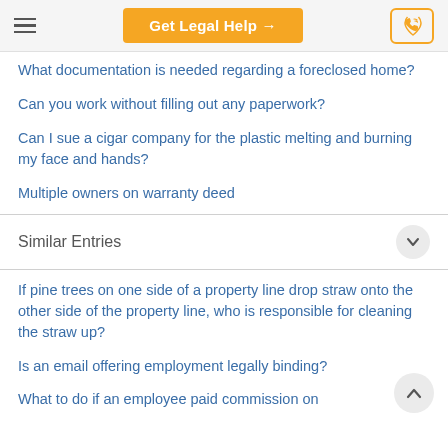Get Legal Help
What documentation is needed regarding a foreclosed home?
Can you work without filling out any paperwork?
Can I sue a cigar company for the plastic melting and burning my face and hands?
Multiple owners on warranty deed
Similar Entries
If pine trees on one side of a property line drop straw onto the other side of the property line, who is responsible for cleaning the straw up?
Is an email offering employment legally binding?
What to do if an employee paid commission on